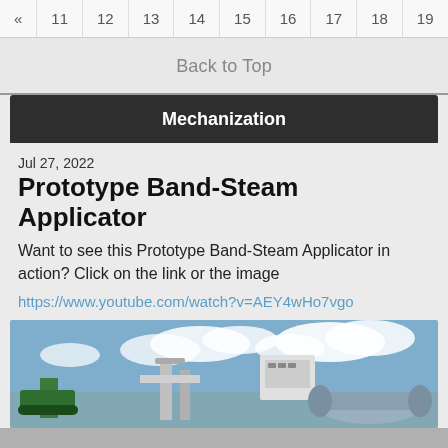« 11 12 13 14 15 16 17 18 19
Back to Top
Mechanization
Jul 27, 2022
Prototype Band-Steam Applicator
Want to see this Prototype Band-Steam Applicator in action? Click on the link or the image
https://www.youtube.com/watch?v=AEY4wHo7vgo
[Figure (photo): Prototype Band-Steam Applicator machine with green and metallic components against a blue sky with white clouds]